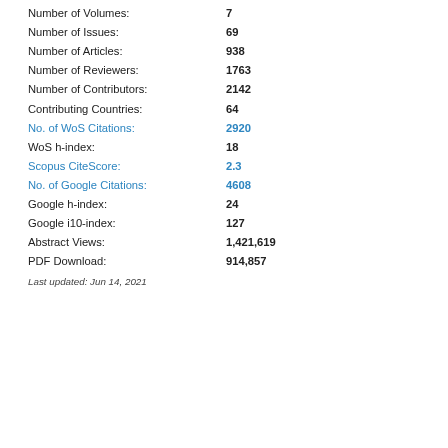Number of Volumes: 7
Number of Issues: 69
Number of Articles: 938
Number of Reviewers: 1763
Number of Contributors: 2142
Contributing Countries: 64
No. of WoS Citations: 2920
WoS h-index: 18
Scopus CiteScore: 2.3
No. of Google Citations: 4608
Google h-index: 24
Google i10-index: 127
Abstract Views: 1,421,619
PDF Download: 914,857
Last updated: Jun 14, 2021